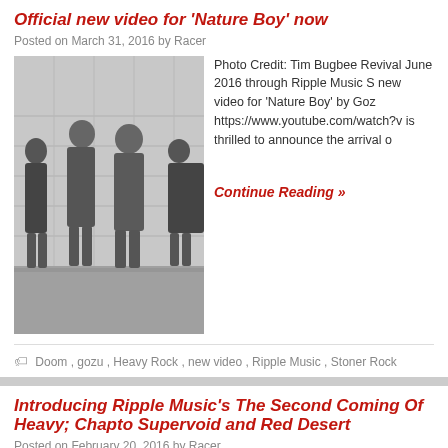Official new video for 'Nature Boy' now
Posted on March 31, 2016 by Racer
[Figure (photo): Black and white photo of a band (Gozu) standing in front of a tiled wall]
Photo Credit: Tim Bugbee Revival June 2016 through Ripple Music S new video for 'Nature Boy' by Goz https://www.youtube.com/watch?v is thrilled to announce the arrival o
Continue Reading »
Doom, gozu, Heavy Rock, new video, Ripple Music, Stoner Rock
Introducing Ripple Music's The Second Coming Of Heavy; Chapto Supervoid and Red Desert
Posted on February 20, 2016 by Racer
[Figure (photo): Colorful album art or promotional image]